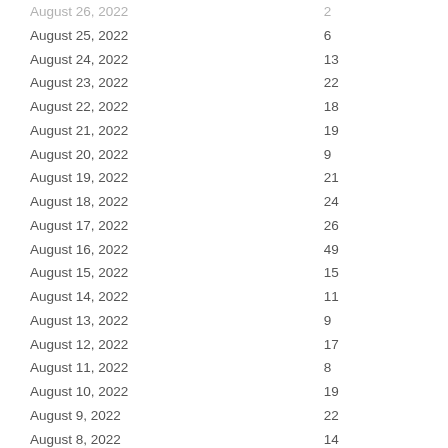| Date | Count |
| --- | --- |
| August 25, 2022 | 6 |
| August 24, 2022 | 13 |
| August 23, 2022 | 22 |
| August 22, 2022 | 18 |
| August 21, 2022 | 19 |
| August 20, 2022 | 9 |
| August 19, 2022 | 21 |
| August 18, 2022 | 24 |
| August 17, 2022 | 26 |
| August 16, 2022 | 49 |
| August 15, 2022 | 15 |
| August 14, 2022 | 11 |
| August 13, 2022 | 9 |
| August 12, 2022 | 17 |
| August 11, 2022 | 8 |
| August 10, 2022 | 19 |
| August 9, 2022 | 22 |
| August 8, 2022 | 14 |
| August 7, 2022 | 14 |
| August 6, 2022 | 7 |
| August 5, 2022 | 8 |
| August 4, 2022 | 19 |
| August 3, 2022 | 16 |